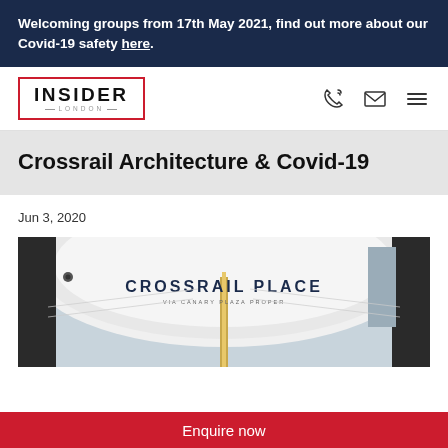Welcoming groups from 17th May 2021, find out more about our Covid-19 safety here.
[Figure (logo): Insider London logo in red border box with INSIDER text and LONDON below]
Crossrail Architecture & Covid-19
Jun 3, 2020
[Figure (photo): Interior view of Crossrail Place station showing the curved white ceiling with CROSSRAIL PLACE text and a gold structural element]
Enquire now